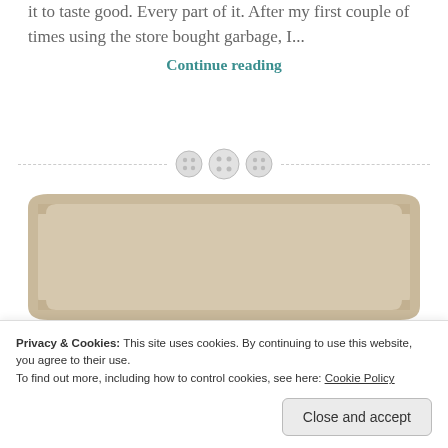it to taste good. Every part of it. After my first couple of times using the store bought garbage, I...
Continue reading
[Figure (illustration): Decorative section divider with three button/sewing button icons in a row between two dashed lines]
[Figure (photo): Kraft paper / tan card background image, partially visible, appears to be a recipe card or food-related card]
Privacy & Cookies: This site uses cookies. By continuing to use this website, you agree to their use.
To find out more, including how to control cookies, see here: Cookie Policy
Close and accept